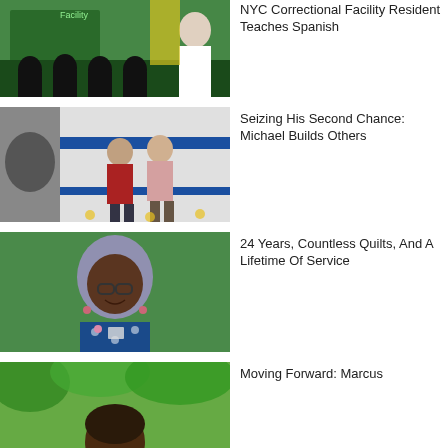[Figure (photo): A man in a white shirt speaking to a group of people seated in a classroom-like setting with green and yellow walls.]
NYC Correctional Facility Resident Teaches Spanish
[Figure (photo): Two men walking down a corridor with blue and white walls, one wearing a red shirt and the other a pink shirt with a lanyard.]
Seizing His Second Chance: Michael Builds Others
[Figure (photo): A smiling woman with blue-gray hair and glasses wearing a blue floral top with a badge.]
24 Years, Countless Quilts, And A Lifetime Of Service
[Figure (photo): Partial view of a person outdoors with green foliage in the background.]
Moving Forward: Marcus